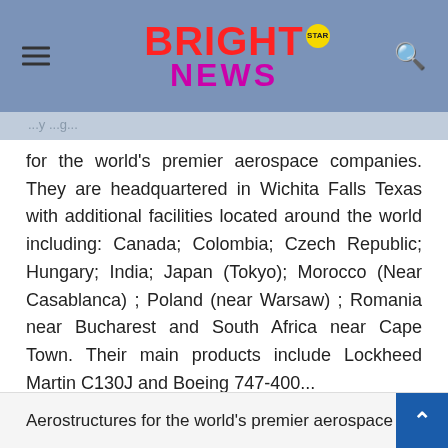Bright Star News
for the world's premier aerospace companies. They are headquartered in Wichita Falls Texas with additional facilities located around the world including: Canada; Colombia; Czech Republic; Hungary; India; Japan (Tokyo); Morocco (Near Casablanca) ; Poland (near Warsaw) ; Romania near Bucharest and South Africa near Cape Town. Their main products include Lockheed Martin C130J and Boeing 747-400...
This post was written by Katherine Ward on behalf of Global Marketing Services, an international marketing agency specializing in SEO & online advertising solutions for small to mids ize businesses.
Aerostructures for the world's premier aerospace companies